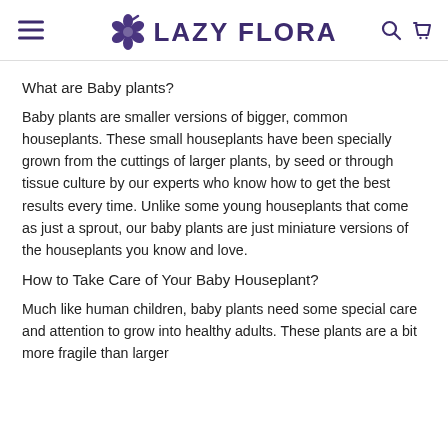LAZY FLORA
What are Baby plants?
Baby plants are smaller versions of bigger, common houseplants. These small houseplants have been specially grown from the cuttings of larger plants, by seed or through tissue culture by our experts who know how to get the best results every time. Unlike some young houseplants that come as just a sprout, our baby plants are just miniature versions of the houseplants you know and love.
How to Take Care of Your Baby Houseplant?
Much like human children, baby plants need some special care and attention to grow into healthy adults. These plants are a bit more fragile than larger